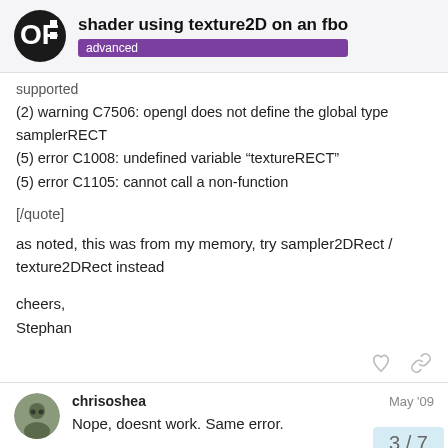shader using texture2D on an fbo | advanced
supported
(2) warning C7506: opengl does not define the global type samplerRECT
(5) error C1008: undefined variable “textureRECT”
(5) error C1105: cannot call a non-function
[/quote]
as noted, this was from my memory, try sampler2DRect / texture2DRect instead
cheers,
Stephan
chrisoshea  May '09
Nope, doesnt work. Same error.